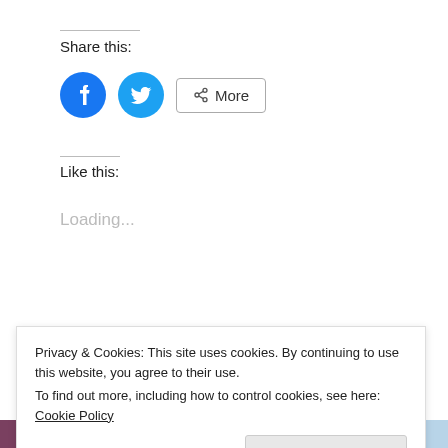Share this:
[Figure (illustration): Social share buttons: Facebook circle icon (blue), Twitter circle icon (light blue), and a 'More' button with share icon]
Like this:
Loading...
Read more
Privacy & Cookies: This site uses cookies. By continuing to use this website, you agree to their use.
To find out more, including how to control cookies, see here: Cookie Policy
Close and accept
[Figure (photo): Row of partial photo thumbnails at the bottom of the page]